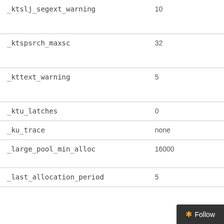| Parameter | Value |
| --- | --- |
| _ktslj_segext_warning | 10 |
| _ktspsrch_maxsc | 32 |
| _kttext_warning | 5 |
| _ktu_latches | 0 |
| _ku_trace | none |
| _large_pool_min_alloc | 16000 |
| _last_allocation_period | 5 |